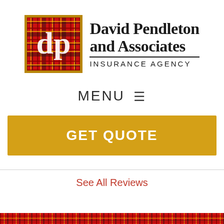[Figure (logo): David Pendleton and Associates Insurance Agency logo — red tartan plaid square with white 'dp' letters on left, agency name in serif bold on right with 'INSURANCE AGENCY' in spaced sans-serif below a horizontal rule]
MENU ☰
GET QUOTE
See All Reviews